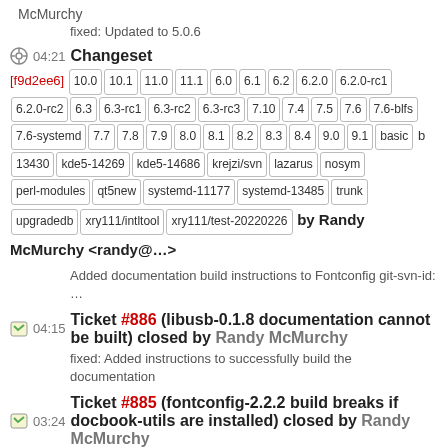McMurchy
fixed: Updated to 5.0.6
04:21 Changeset
[f9d2ee6] 10.0 10.1 11.0 11.1 6.0 6.1 6.2 6.2.0 6.2.0-rc1 6.2.0-rc2 6.3 6.3-rc1 6.3-rc2 6.3-rc3 7.10 7.4 7.5 7.6 7.6-blfs 7.6-systemd 7.7 7.8 7.9 8.0 8.1 8.2 8.3 8.4 9.0 9.1 basic b 13430 kde5-14269 kde5-14686 krejzi/svn lazarus nosym perl-modules qt5new systemd-11177 systemd-13485 trunk upgradedb xry111/intltool xry111/test-20220226 by Randy McMurchy <randy@...>
Added documentation build instructions to Fontconfig git-svn-id: …
04:15 Ticket #886 (libusb-0.1.8 documentation cannot be built) closed by Randy McMurchy
fixed: Added instructions to successfully build the documentation
03:24 Ticket #885 (fontconfig-2.2.2 build breaks if docbook-utils are installed) closed by Randy McMurchy
fixed: Added instructions to build documentation using